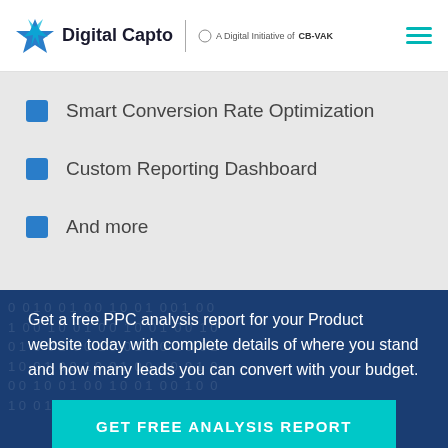Digital Capto | A Digital Initiative of CB-VAK
Smart Conversion Rate Optimization
Custom Reporting Dashboard
And more
Get a free PPC analysis report for your Product website today with complete details of where you stand and how many leads you can convert with your budget.
GET FREE ANALYSIS REPORT